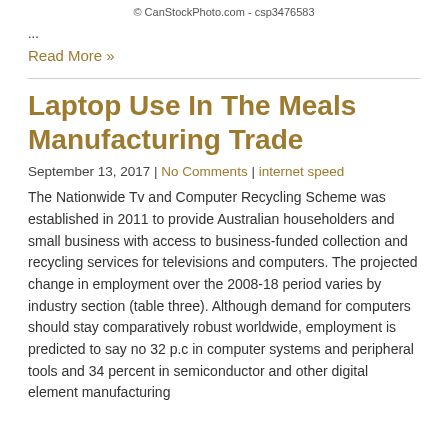© CanStockPhoto.com - csp3476583
...
Read More »
Laptop Use In The Meals Manufacturing Trade
September 13, 2017 | No Comments | internet speed
The Nationwide Tv and Computer Recycling Scheme was established in 2011 to provide Australian householders and small business with access to business-funded collection and recycling services for televisions and computers. The projected change in employment over the 2008-18 period varies by industry section (table three). Although demand for computers should stay comparatively robust worldwide, employment is predicted to say no 32 p.c in computer systems and peripheral tools and 34 percent in semiconductor and other digital element manufacturing